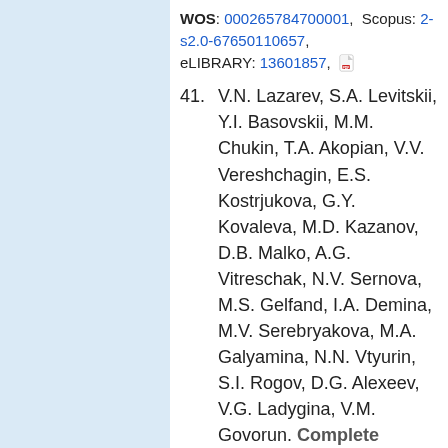WOS: 000265784700001, Scopus: 2-s2.0-67650110657, eLIBRARY: 13601857,
41. V.N. Lazarev, S.A. Levitskii, Y.I. Basovskii, M.M. Chukin, T.A. Akopian, V.V. Vereshchagin, E.S. Kostrjukova, G.Y. Kovaleva, M.D. Kazanov, D.B. Malko, A.G. Vitreschak, N.V. Sernova, M.S. Gelfand, I.A. Demina, M.V. Serebryakova, M.A. Galyamina, N.N. Vtyurin, S.I. Rogov, D.G. Alexeev, V.G. Ladygina, V.M. Govorun. Complete genome and proteome of Acholeplasma laidlawii. Journal of